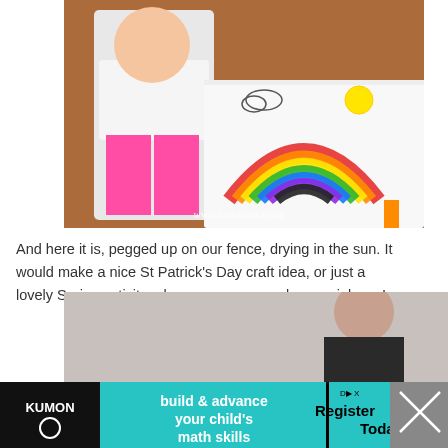[Figure (photo): Child standing next to a small table with a colorful pompom rainbow art project on white paper. The paper also has drawn clouds and a sun. Website watermark: www.danyabanya.com]
And here it is, pegged up on our fence, drying in the sun. It would make a nice St Patrick's Day craft idea, or just a lovely Spring activity – because everyone loves rainbows!
[Figure (photo): Partial photo of a woman smiling, appears to be an advertisement background image]
[Figure (infographic): Kumon advertisement banner: 'build & advance your child's math skills' with 'Register Today →' call to action on teal background with Kumon logo]